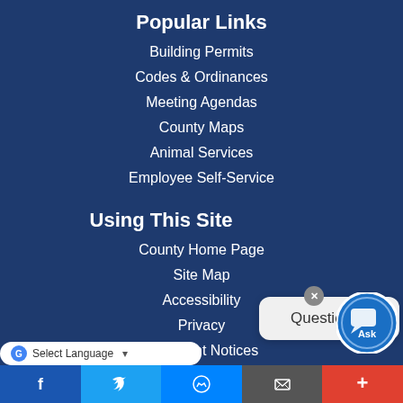Popular Links
Building Permits
Codes & Ordinances
Meeting Agendas
County Maps
Animal Services
Employee Self-Service
Using This Site
County Home Page
Site Map
Accessibility
Privacy
Copyright Notices
Facebook | Twitter | Messenger | Email | More